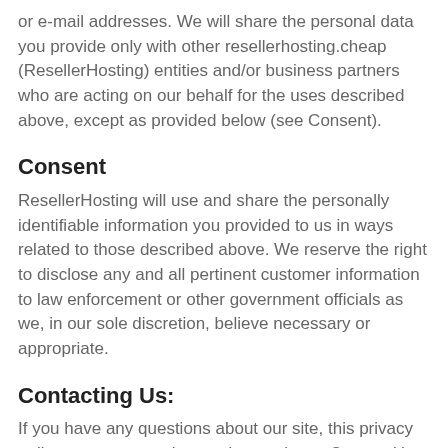or e-mail addresses. We will share the personal data you provide only with other resellerhosting.cheap (ResellerHosting) entities and/or business partners who are acting on our behalf for the uses described above, except as provided below (see Consent).
Consent
ResellerHosting will use and share the personally identifiable information you provided to us in ways related to those described above. We reserve the right to disclose any and all pertinent customer information to law enforcement or other government officials as we, in our sole discretion, believe necessary or appropriate.
Contacting Us:
If you have any questions about our site, this privacy policy, or our general procedures, please Contact Us at privacy@resellerhosting.cheap.